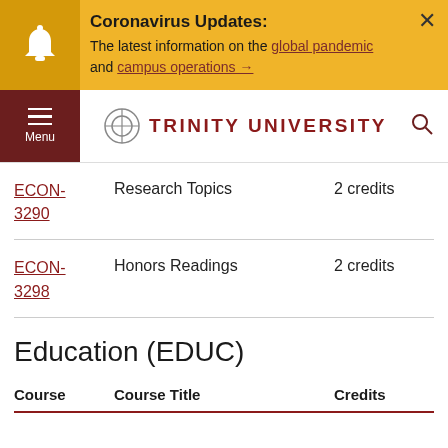Coronavirus Updates: The latest information on the global pandemic and campus operations →
TRINITY UNIVERSITY
| Course | Course Title | Credits |
| --- | --- | --- |
| ECON-3290 | Research Topics | 2 credits |
| ECON-3298 | Honors Readings | 2 credits |
Education (EDUC)
| Course | Course Title | Credits |
| --- | --- | --- |